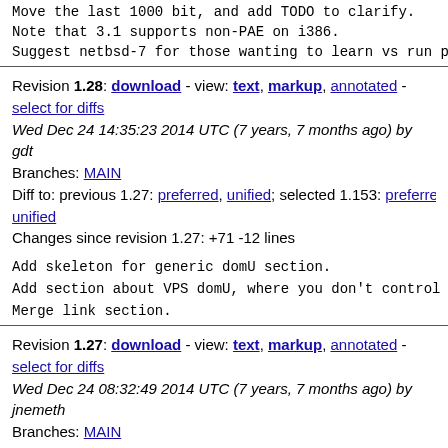Move the last 1000 bit, and add TODO to clarify.
Note that 3.1 supports non-PAE on i386.
Suggest netbsd-7 for those wanting to learn vs run produ
Revision 1.28: download - view: text, markup, annotated - select for diffs
Wed Dec 24 14:35:23 2014 UTC (7 years, 7 months ago) by gdt
Branches: MAIN
Diff to: previous 1.27: preferred, unified; selected 1.153: preferred, unified
Changes since revision 1.27: +71 -12 lines
Add skeleton for generic domU section.
Add section about VPS domU, where you don't control dom0
Merge link section.
Revision 1.27: download - view: text, markup, annotated - select for diffs
Wed Dec 24 08:32:49 2014 UTC (7 years, 7 months ago) by jnemeth
Branches: MAIN
Diff to: previous 1.26: preferred, unified; selected 1.153: preferred, unified